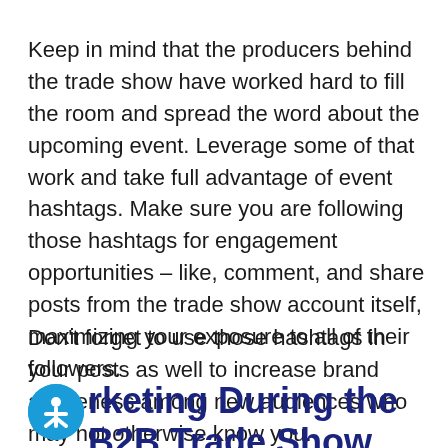Keep in mind that the producers behind the trade show have worked hard to fill the room and spread the word about the upcoming event. Leverage some of that work and take full advantage of event hashtags. Make sure you are following those hashtags for engagement opportunities – like, comment, and share posts from the trade show account itself, maximizing your exposure to all of their followers.
Don't forget to use those hashtags in your posts as well to increase brand awareness among new audiences who may not otherwise know you.
rketing During the B2B Trade Show